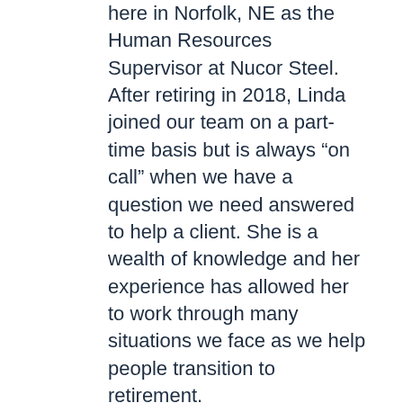here in Norfolk, NE as the Human Resources Supervisor at Nucor Steel. After retiring in 2018, Linda joined our team on a part-time basis but is always “on call” when we have a question we need answered to help a client. She is a wealth of knowledge and her experience has allowed her to work through many situations we face as we help people transition to retirement.
Growing up on a farm just outside of town, Linda graduated from Norfolk High School and then went on to get her degree from what is now known as Northeast Community College.